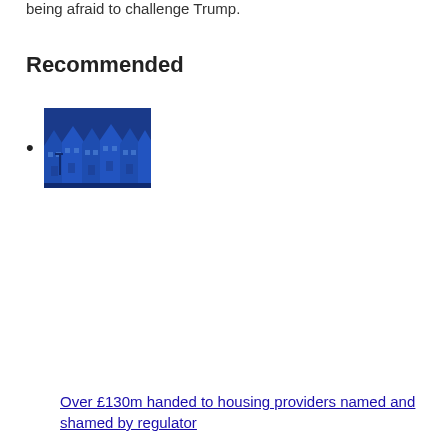being afraid to challenge Trump.
Recommended
[image of terraced houses]
Over £130m handed to housing providers named and shamed by regulator